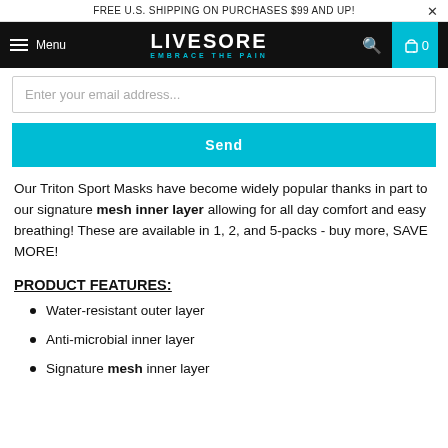FREE U.S. SHIPPING ON PURCHASES $99 AND UP!
[Figure (logo): LIVESORE EMBRACE THE PAIN navigation bar with hamburger menu, search icon, and cart icon showing 0 items]
Enter your email address...
Send
Our Triton Sport Masks have become widely popular thanks in part to our signature mesh inner layer allowing for all day comfort and easy breathing! These are available in 1, 2, and 5-packs - buy more, SAVE MORE!
PRODUCT FEATURES:
Water-resistant outer layer
Anti-microbial inner layer
Signature mesh inner layer